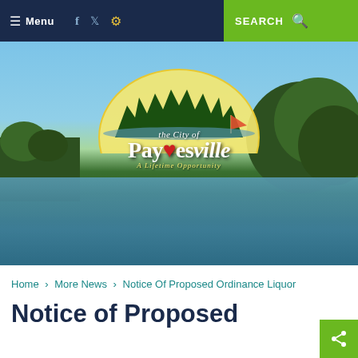≡ Menu  f  🐦  ⚙  SEARCH 🔍
[Figure (photo): City of Paynesville hero banner photo showing a lake with trees and the city logo overlaid. Logo reads 'the City of Paynesville - A Lifetime Opportunity']
Home › More News › Notice Of Proposed Ordinance Liquor
Notice of Proposed